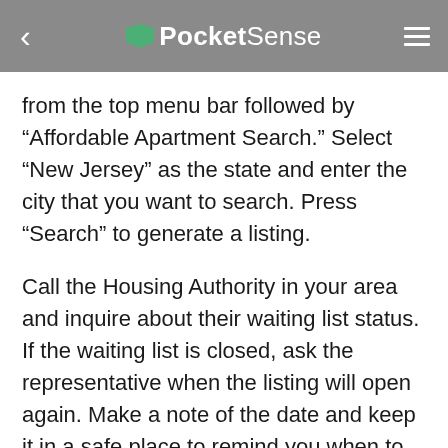PocketSense
from the top menu bar followed by “Affordable Apartment Search.” Select “New Jersey” as the state and enter the city that you want to search. Press “Search” to generate a listing.
Call the Housing Authority in your area and inquire about their waiting list status. If the waiting list is closed, ask the representative when the listing will open again. Make a note of the date and keep it in a safe place to remind you when to act.